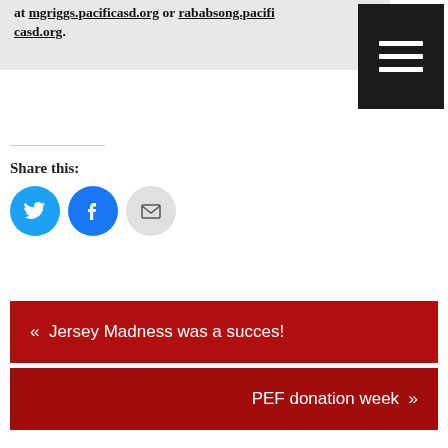at mgriggs.pacificasd.org or rababsong.pacificasd.org.
[Figure (other): Black menu button with three white horizontal bars]
Share this:
[Figure (other): Social share buttons: Twitter (blue bird), Facebook (blue f), Email (gray envelope)]
Like this:
Loading...
« Jersey Madness was a succes!
PEF donation week »